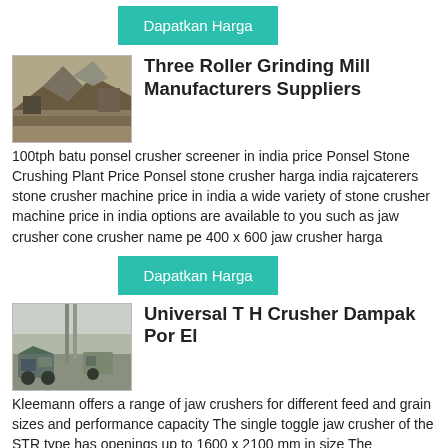Dapatkan Harga (button, top)
Three Roller Grinding Mill Manufacturers Suppliers
[Figure (photo): Industrial stone crusher plant machinery at a mining site]
100tph batu ponsel crusher screener in india price Ponsel Stone Crushing Plant Price Ponsel stone crusher harga india rajcaterers stone crusher machine price in india a wide variety of stone crusher machine price in india options are available to you such as jaw crusher cone crusher name pe 400 x 600 jaw crusher harga
Dapatkan Harga (button, middle)
Universal T H Crusher Dampak Por El
[Figure (photo): Kleemann jaw crusher machine at a construction or mining site]
Kleemann offers a range of jaw crushers for different feed and grain sizes and performance capacity The single toggle jaw crusher of the STR type has openings up to 1600 x 2100 mm in size The maximum feed capacity is up to 1500 t/h impactor crusher tone h impactor crusher 200 toneh impactor crusher 200 tone/h crusherasia impactor crusher